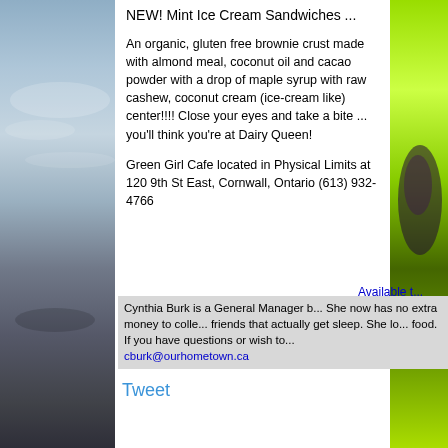[Figure (photo): Left side: blurred sky/water photo strip in blue-gray tones]
[Figure (photo): Right side: bright green lime/athletic shoe photo strip]
NEW! Mint Ice Cream Sandwiches ...
An organic, gluten free brownie crust made with almond meal, coconut oil and cacao powder with a drop of maple syrup with raw cashew, coconut cream (ice-cream like) center!!!! Close your eyes and take a bite ... you'll think you're at Dairy Queen!
Green Girl Cafe located in Physical Limits at 120 9th St East, Cornwall, Ontario (613) 932-4766
Available t... delicious.
Cynthia Burk is a General Manager b... She now has no extra money to colle... friends that actually get sleep. She lo... food. If you have questions or wish to... cburk@ourhometown.ca
Tweet